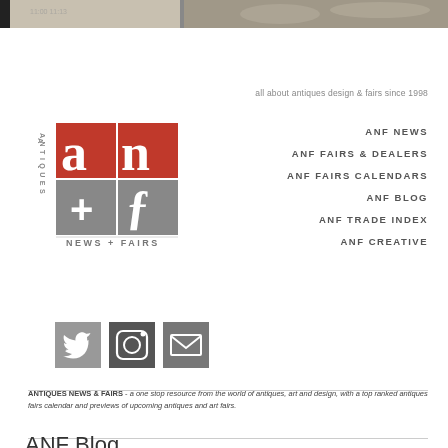[Figure (photo): Header banner image strip showing antiques/art items in muted tones]
all about antiques design & fairs since 1998
[Figure (logo): Antiques News + Fairs (ANF) logo with red and grey squares containing stylized 'an' and '+f' lettering, with 'ANTIQUES' vertical text on left and 'NEWS + FAIRS' below]
ANF NEWS
ANF FAIRS & DEALERS
ANF FAIRS CALENDARS
ANF BLOG
ANF TRADE INDEX
ANF CREATIVE
[Figure (infographic): Three social media icons: Twitter bird icon, Instagram camera icon, and email envelope icon, all in grey square boxes]
ANTIQUES NEWS & FAIRS - a one stop resource from the world of antiques, art and design, with a top ranked antiques fairs calendar and previews of upcoming antiques and art fairs.
ANF Blog